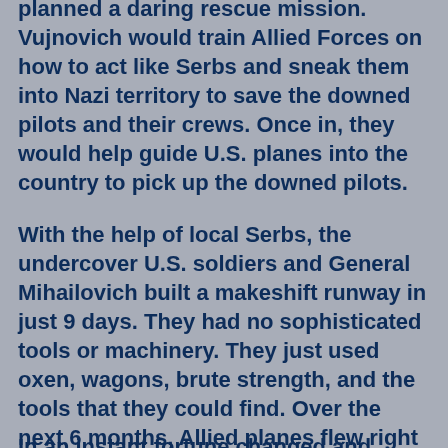planned a daring rescue mission. Vujnovich would train Allied Forces on how to act like Serbs and sneak them into Nazi territory to save the downed pilots and their crews. Once in, they would help guide U.S. planes into the country to pick up the downed pilots.
With the help of local Serbs, the undercover U.S. soldiers and General Mihailovich built a makeshift runway in just 9 days. They had no sophisticated tools or machinery. They just used oxen, wagons, brute strength, and the tools that they could find. Over the next 6 months, Allied planes flew right under Nazi noses to land on that crude airstrip.
In an instant fortune changed and...